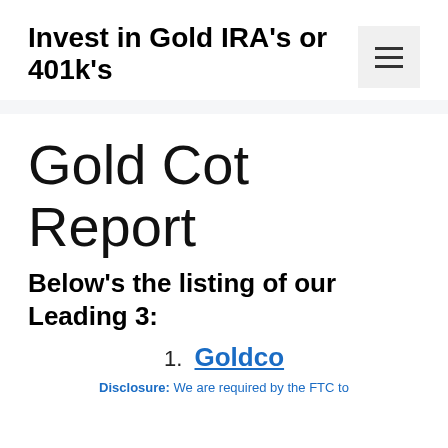Invest in Gold IRA's or 401k's
Gold Cot Report
Below's the listing of our Leading 3:
1. Goldco
Disclosure: We are required by the FTC to